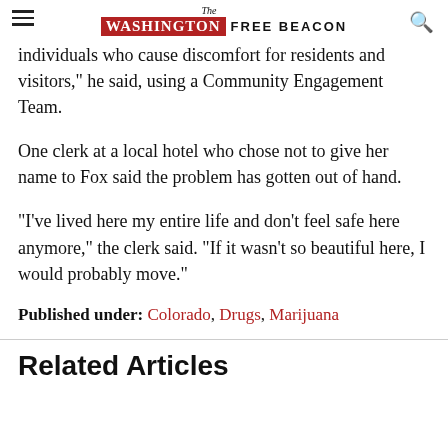The Washington Free Beacon
individuals who cause discomfort for residents and visitors," he said, using a Community Engagement Team.
One clerk at a local hotel who chose not to give her name to Fox said the problem has gotten out of hand.
"I've lived here my entire life and don't feel safe here anymore," the clerk said. "If it wasn't so beautiful here, I would probably move."
Published under: Colorado, Drugs, Marijuana
Related Articles